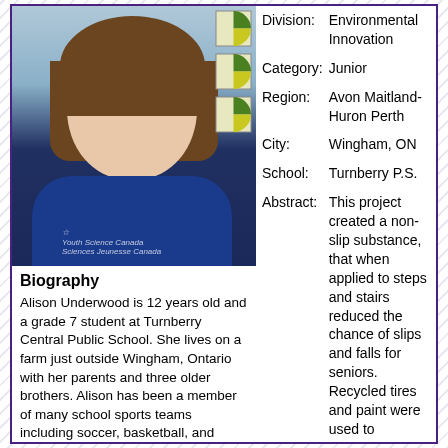[Figure (photo): Photo of Alison Underwood, a young woman wearing a blue Youth Science Canada sweater, smiling at the camera]
Biography
Alison Underwood is 12 years old and a grade 7 student at Turnberry Central Public School. She lives on a farm just outside Wingham, Ontario with her parents and three older brothers. Alison has been a member of many school sports teams including soccer, basketball, and volleyball and also plays hockey on two different teams. She has been very active in “Me to We” and was selected to attend the
Division: Environmental Innovation
Category: Junior
Region: Avon Maitland-Huron Perth
City: Wingham, ON
School: Turnberry P.S.
Abstract: This project created a non-slip substance, that when applied to steps and stairs reduced the chance of slips and falls for seniors. Recycled tires and paint were used to produce a product that was environmentally friendly. Eight different combinations plus a control area were